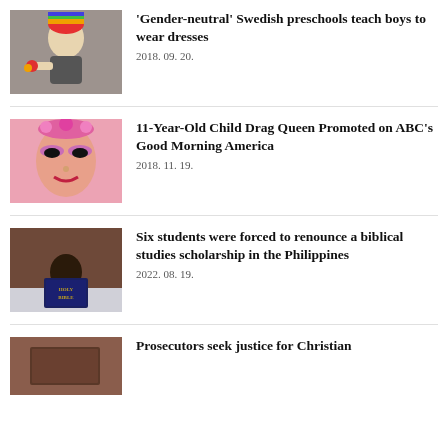[Figure (photo): Child with rainbow beanie hat playing with colorful toy]
'Gender-neutral' Swedish preschools teach boys to wear dresses
2018. 09. 20.
[Figure (photo): Young child in drag queen makeup and costume]
11-Year-Old Child Drag Queen Promoted on ABC's Good Morning America
2018. 11. 19.
[Figure (photo): Child reading a Holy Bible book]
Six students were forced to renounce a biblical studies scholarship in the Philippines
2022. 08. 19.
[Figure (photo): Partial image related to Christian justice article]
Prosecutors seek justice for Christian...